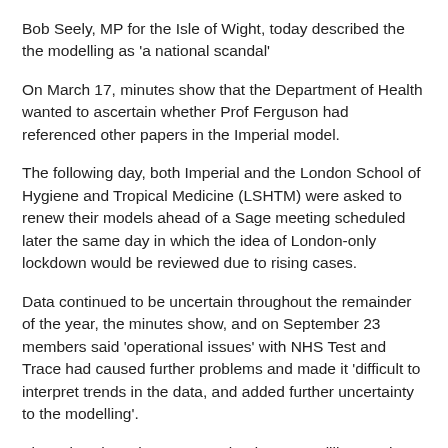Bob Seely, MP for the Isle of Wight, today described the the modelling as 'a national scandal'
On March 17, minutes show that the Department of Health wanted to ascertain whether Prof Ferguson had referenced other papers in the Imperial model.
The following day, both Imperial and the London School of Hygiene and Tropical Medicine (LSHTM) were asked to renew their models ahead of a Sage meeting scheduled later the same day in which the idea of London-only lockdown would be reviewed due to rising cases.
Data continued to be uncertain throughout the remainder of the year, the minutes show, and on September 23 members said 'operational issues' with NHS Test and Trace had caused further problems and made it 'difficult to interpret trends in the data, and added further uncertainty to the modelling'.
They also show that NHS England was 'unwilling' to share timelines for the ongoing rollout — a condition in difficulty…